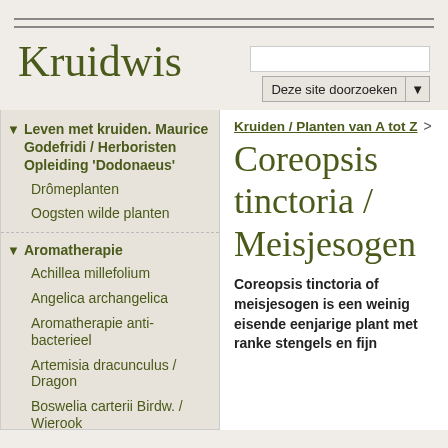Kruidwis
Leven met kruiden. Maurice Godefridi / Herboristen Opleiding 'Dodonaeus'
Drômeplanten
Oogsten wilde planten
Aromatherapie
Achillea millefolium
Angelica archangelica
Aromatherapie anti-bacterieel
Artemisia dracunculus / Dragon
Boswelia carterii Birdw. / Wierook
Cananga odorata / Ylang-Ylang
Kruiden / Planten van A tot Z >
Coreopsis tinctoria / Meisjesogen
Coreopsis tinctoria of meisjesogen is een weinig eisende eenjarige plant met ranke stengels en fijn